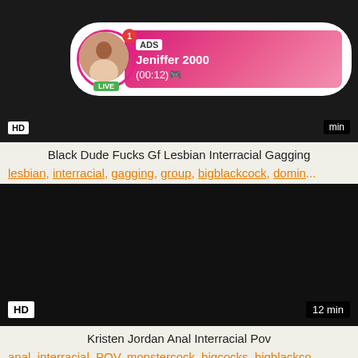[Figure (screenshot): Video thumbnail with dark background, HD badge bottom-left, duration badge showing 'min' bottom-right, and ad overlay featuring profile avatar with LIVE badge, ADS label, name Jeniffer 2000, time (00:12)]
Black Dude Fucks Gf Lesbian Interracial Gagging
lesbian, interracial, gagging, group, bigblackcock, domin...
[Figure (screenshot): Black video thumbnail with HD badge bottom-left and 12 min badge bottom-right]
Kristen Jordan Anal Interracial Pov
anal, interracial, POV, monstercock, bigcocks, bigblackco...